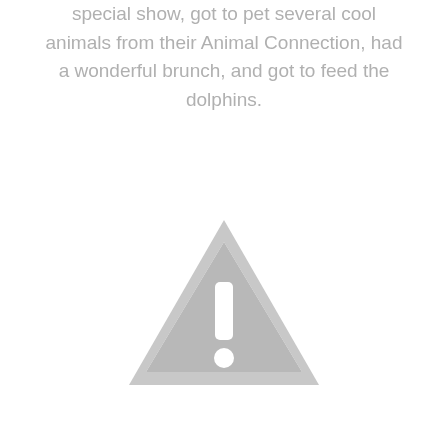special show, got to pet several cool animals from their Animal Connection, had a wonderful brunch, and got to feed the dolphins.
[Figure (illustration): A grey warning/caution triangle icon with a white exclamation mark inside, indicating a missing or unavailable image placeholder.]